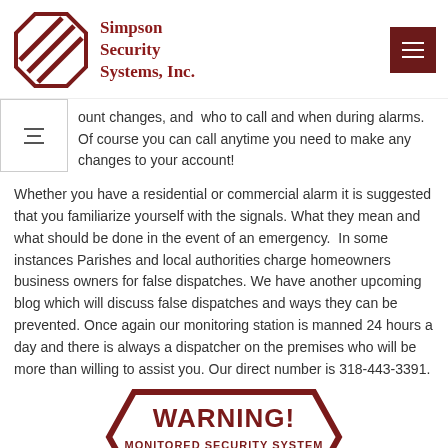[Figure (logo): Simpson Security Systems, Inc. logo with octagon graphic and company name in dark red serif font]
ount changes, and who to call and when during alarms. Of course you can call anytime you need to make any changes to your account!
Whether you have a residential or commercial alarm it is suggested that you familiarize yourself with the signals. What they mean and what should be done in the event of an emergency. In some instances Parishes and local authorities charge homeowners business owners for false dispatches. We have another upcoming blog which will discuss false dispatches and ways they can be prevented. Once again our monitoring station is manned 24 hours a day and there is always a dispatcher on the premises who will be more than willing to assist you. Our direct number is 318-443-3391.
[Figure (illustration): Warning sign graphic with dark red text: WARNING! MONITORED SECURITY SYSTEM (318)443-3391]